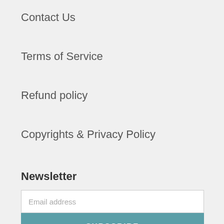Contact Us
Terms of Service
Refund policy
Copyrights & Privacy Policy
Newsletter
Email address
SUBSCRIBE